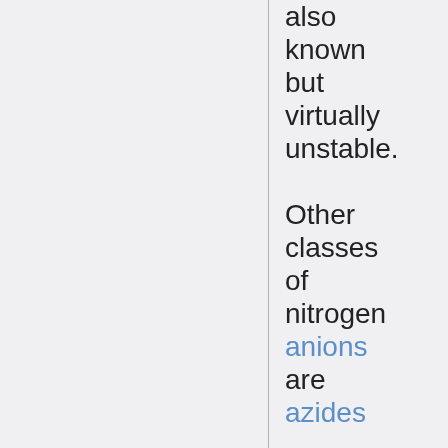also known but virtually unstable. Other classes of nitrogen anions are azides (N3-), which are